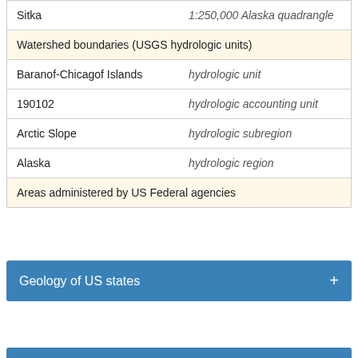| Name | Type |
| --- | --- |
| Sitka | 1:250,000 Alaska quadrangle |
| Watershed boundaries (USGS hydrologic units) |  |
| Baranof-Chicagof Islands | hydrologic unit |
| 190102 | hydrologic accounting unit |
| Arctic Slope | hydrologic subregion |
| Alaska | hydrologic region |
| Areas administered by US Federal agencies |  |
Geology of US states
Airborne geophysical surveys
The continental crust